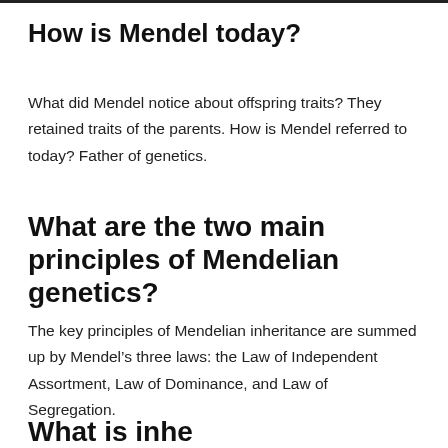How is Mendel today?
What did Mendel notice about offspring traits? They retained traits of the parents. How is Mendel referred to today? Father of genetics.
What are the two main principles of Mendelian genetics?
The key principles of Mendelian inheritance are summed up by Mendel’s three laws: the Law of Independent Assortment, Law of Dominance, and Law of Segregation.
What is inheritance engineering?